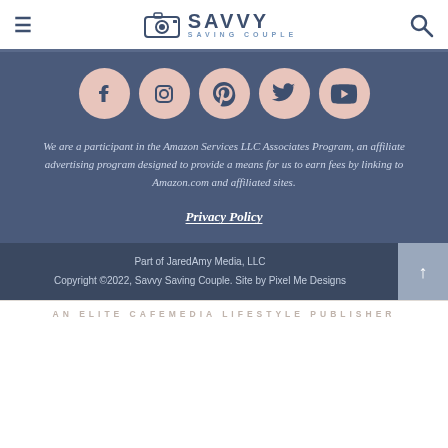Savvy Saving Couple
[Figure (logo): Savvy Saving Couple logo with camera icon, hamburger menu and search icon in white header bar]
[Figure (infographic): Row of five social media icons (Facebook, Instagram, Pinterest, Twitter, YouTube) as pink circles on dark blue background]
We are a participant in the Amazon Services LLC Associates Program, an affiliate advertising program designed to provide a means for us to earn fees by linking to Amazon.com and affiliated sites.
Privacy Policy
Part of JaredAmy Media, LLC
Copyright ©2022, Savvy Saving Couple. Site by Pixel Me Designs
AN ELITE CAFEMEDIA LIFESTYLE PUBLISHER